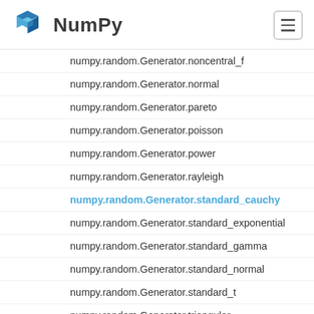NumPy
numpy.random.Generator.noncentral_f
numpy.random.Generator.normal
numpy.random.Generator.pareto
numpy.random.Generator.poisson
numpy.random.Generator.power
numpy.random.Generator.rayleigh
numpy.random.Generator.standard_cauchy
numpy.random.Generator.standard_exponential
numpy.random.Generator.standard_gamma
numpy.random.Generator.standard_normal
numpy.random.Generator.standard_t
numpy.random.Generator.triangular
numpy.random.Generator.uniform